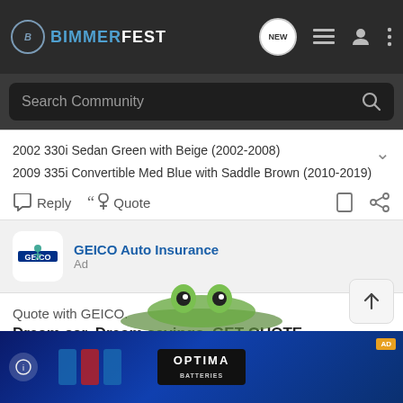BIMMERFEST
Search Community
2002 330i Sedan Green with Beige (2002-2008)
2009 335i Convertible Med Blue with Saddle Brown (2010-2019)
Reply  Quote
GEICO Auto Insurance
Ad
Quote with GEICO.
Dream car. Dream savings. GET QUOTE
[Figure (photo): GEICO gecko character sitting on a green car, partial view]
[Figure (photo): Optima Batteries advertisement banner with blue background showing battery products]